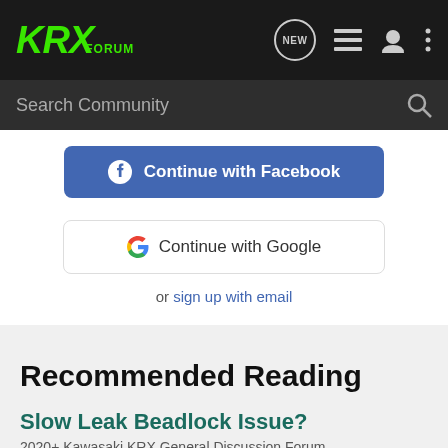[Figure (logo): KRX Forum logo in green italic text on dark background]
Search Community
[Figure (screenshot): Continue with Facebook button (blue)]
[Figure (screenshot): Continue with Google button (white)]
or sign up with email
Recommended Reading
Slow Leak Beadlock Issue?
2020+ Kawasaki KRX General Discussion Forum
16   2K